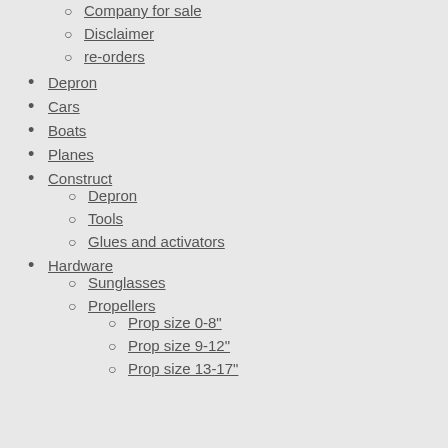Company for sale
Disclaimer
re-orders
Depron
Cars
Boats
Planes
Construct
Depron
Tools
Glues and activators
Hardware
Sunglasses
Propellers
Prop size 0-8"
Prop size 9-12"
Prop size 13-17"